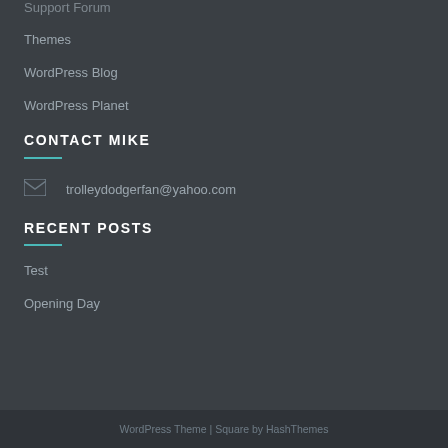Support Forum
Themes
WordPress Blog
WordPress Planet
CONTACT MIKE
trolleydodgerfan@yahoo.com
RECENT POSTS
Test
Opening Day
WordPress Theme | Square by HashThemes